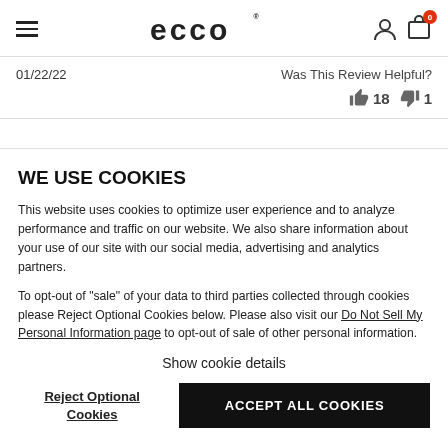ECCO
01/22/22
Was This Review Helpful? 👍 18 👎 1
WE USE COOKIES
This website uses cookies to optimize user experience and to analyze performance and traffic on our website. We also share information about your use of our site with our social media, advertising and analytics partners.
To opt-out of "sale" of your data to third parties collected through cookies please Reject Optional Cookies below. Please also visit our Do Not Sell My Personal Information page to opt-out of sale of other personal information.
Show cookie details
Reject Optional Cookies
ACCEPT ALL COOKIES